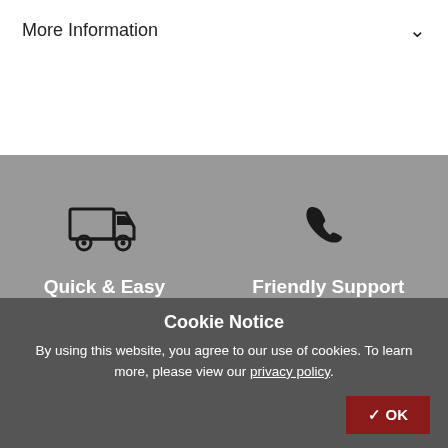More Information
[Figure (illustration): Truck/delivery icon and phone icon with labels Quick & Easy and Friendly Support on a gray background]
Cookie Notice
By using this website, you agree to our use of cookies. To learn more, please view our privacy policy.